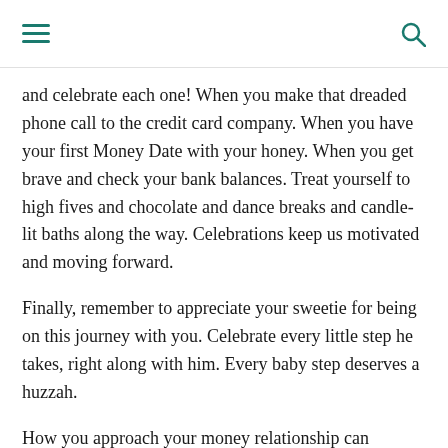[navigation bar with menu and search icons]
and celebrate each one! When you make that dreaded phone call to the credit card company. When you have your first Money Date with your honey. When you get brave and check your bank balances. Treat yourself to high fives and chocolate and dance breaks and candle-lit baths along the way. Celebrations keep us motivated and moving forward.
Finally, remember to appreciate your sweetie for being on this journey with you. Celebrate every little step he takes, right along with him. Every baby step deserves a huzzah.
How you approach your money relationship can become your new approach to life. Why not choose a path of awareness, self-care, compassion, and radical un-shaming?